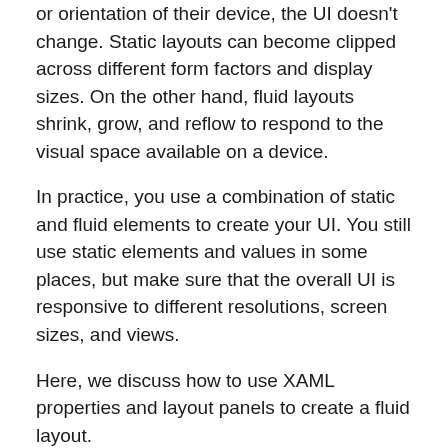or orientation of their device, the UI doesn't change. Static layouts can become clipped across different form factors and display sizes. On the other hand, fluid layouts shrink, grow, and reflow to respond to the visual space available on a device.
In practice, you use a combination of static and fluid elements to create your UI. You still use static elements and values in some places, but make sure that the overall UI is responsive to different resolutions, screen sizes, and views.
Here, we discuss how to use XAML properties and layout panels to create a fluid layout.
Layout properties
Layout properties control the size and position of an element. To create a fluid layout, use automatic or proportional sizing for elements, and allow layout panels to